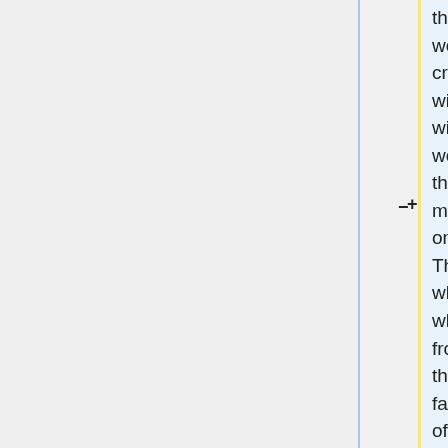the martyrs while they were still alive; crucifixion; thrown to the wild beasts; beheading with the sword.  They were often torture and then enslaved in the mines with heavy chains on their arms and legs.  They were exiled, whipped with leather whips; throw them into frozen lakes; dragging through the streets and faced many other kinds of demonic